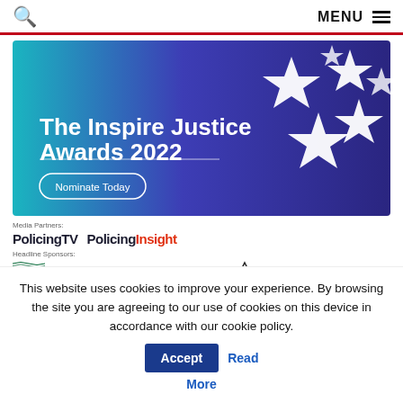MENU
[Figure (illustration): The Inspire Justice Awards 2022 promotional banner with gradient teal-to-purple background, white stars, bold white title text, and a 'Nominate Today' button]
Media Partners:
PolicingTV   PolicingInsight
Headline Sponsors:
[Figure (logo): Sponsor logos: UNISON, SFJ Awards, napo, Serve Protect]
This website uses cookies to improve your experience. By browsing the site you are agreeing to our use of cookies on this device in accordance with our cookie policy.
Accept  Read More